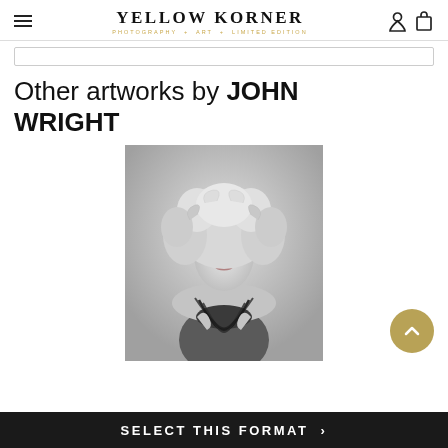YELLOW KORNER — PHOTOGRAPHY + ART + LIMITED EDITION
Other artworks by JOHN WRIGHT
[Figure (photo): Black and white portrait photograph of a woman with voluminous curly blonde hair, dramatic eye makeup, wearing a sparkling necklace/chain top, looking directly at the camera]
SELECT THIS FORMAT >